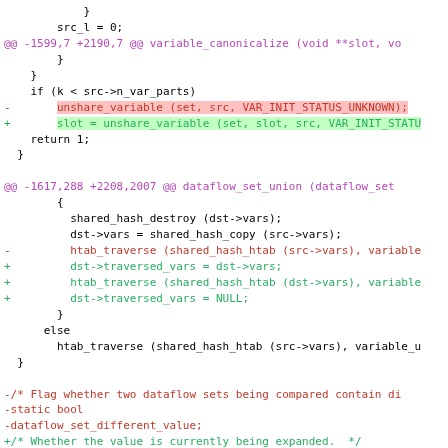Code diff showing changes to variable_canonicalize and dataflow_set_union functions
[Figure (screenshot): Source code diff view with red/green highlighted lines showing removed and added code in C, including hunk headers in magenta]